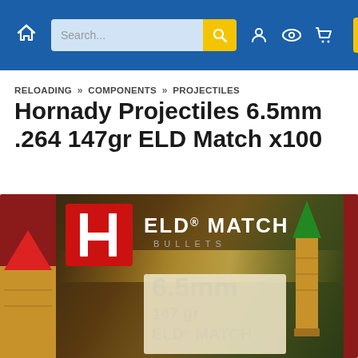[Figure (screenshot): Website navigation bar with home icon, search box, account/wishlist/cart icons, and yellow menu button on blue background]
RELOADING » COMPONENTS » PROJECTILES
Hornady Projectiles 6.5mm .264 147gr ELD Match x100
[Figure (photo): Hornady ELD Match Bullets box for 6.5mm 147gr ELD Match projectiles, showing the red and gold box with a bullet illustration and the Hornady H logo on a holographic label]